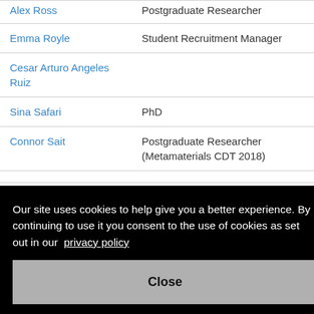| Name | Role |
| --- | --- |
| [partial top row] | Postgraduate Researcher |
| Emma Royle | Student Recruitment Manager |
| Cesar Arturo Angeles Ruiz |  |
| Sina Safari | PhD |
| Connor Sait | Postgraduate Researcher (Metamaterials CDT 2018) |
| Francesca Sanders |  |
Our site uses cookies to help give you a better experience. By continuing to use it you consent to the use of cookies as set out in our privacy policy